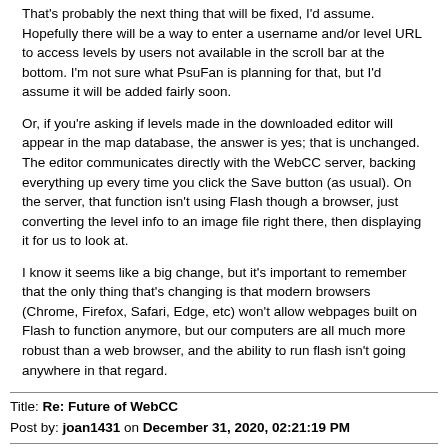That's probably the next thing that will be fixed, I'd assume. Hopefully there will be a way to enter a username and/or level URL to access levels by users not available in the scroll bar at the bottom. I'm not sure what PsuFan is planning for that, but I'd assume it will be added fairly soon.
Or, if you're asking if levels made in the downloaded editor will appear in the map database, the answer is yes; that is unchanged. The editor communicates directly with the WebCC server, backing everything up every time you click the Save button (as usual). On the server, that function isn't using Flash though a browser, just converting the level info to an image file right there, then displaying it for us to look at.
I know it seems like a big change, but it's important to remember that the only thing that's changing is that modern browsers (Chrome, Firefox, Safari, Edge, etc) won't allow webpages built on Flash to function anymore, but our computers are all much more robust than a web browser, and the ability to run flash isn't going anywhere in that regard.
Title: Re: Future of WebCC
Post by: joan1431 on December 31, 2020, 02:21:19 PM
Quote from: CraigV on December 31, 2020, 01:29:04 PM
That's probably the next thing that will be fixed, I'd assume. Hopefully there will be a way to enter a username and/or level URL to access levels by users not available in the scroll bar at the bottom. I'm not sure what PsuFan is planning for that, but I'd assume it will be added fairly soon.